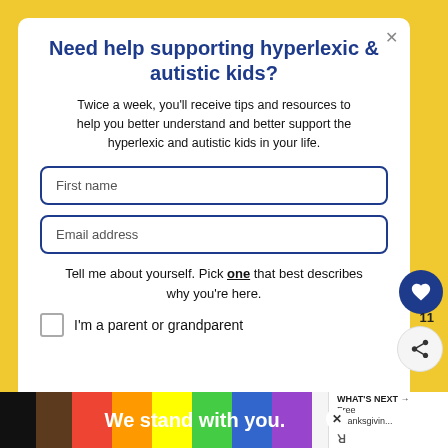Need help supporting hyperlexic & autistic kids?
Twice a week, you'll receive tips and resources to help you better understand and better support the hyperlexic and autistic kids in your life.
First name
Email address
Tell me about yourself. Pick one that best describes why you're here.
I'm a parent or grandparent
[Figure (infographic): Advertisement banner: rainbow pride flag colors with text 'We stand with you.' and a close X button]
[Figure (infographic): What's Next panel with book icon, text 'WHAT'S NEXT → Free Thanksgivin...' and share icon]